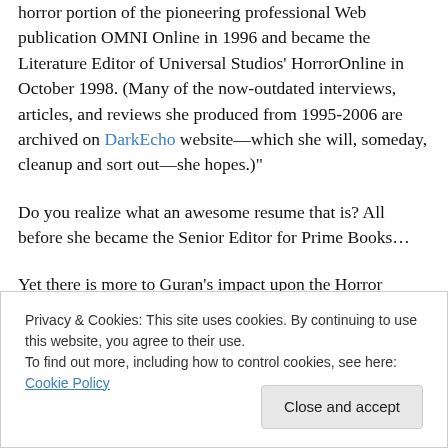horror portion of the pioneering professional Web publication OMNI Online in 1996 and became the Literature Editor of Universal Studios' HorrorOnline in October 1998. (Many of the now-outdated interviews, articles, and reviews she produced from 1995-2006 are archived on DarkEcho website—which she will, someday, cleanup and sort out—she hopes.)"
Do you realize what an awesome resume that is? All before she became the Senior Editor for Prime Books…
Yet there is more to Guran's impact upon the Horror
Privacy & Cookies: This site uses cookies. By continuing to use this website, you agree to their use.
To find out more, including how to control cookies, see here: Cookie Policy